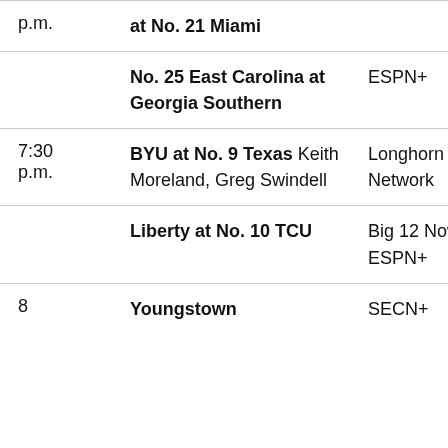| Time | Game | Network |
| --- | --- | --- |
| p.m. | at No. 21 Miami |  |
|  | No. 25 East Carolina at Georgia Southern | ESPN+ |
| 7:30 p.m. | BYU at No. 9 Texas Keith Moreland, Greg Swindell | Longhorn Network |
|  | Liberty at No. 10 TCU | Big 12 Now on ESPN+ |
| 8 | Youngstown | SECN+ |